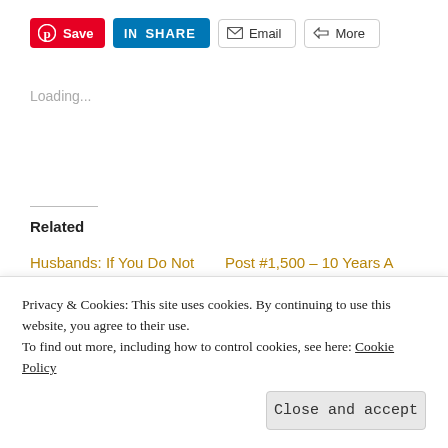[Figure (other): Social share buttons: Pinterest Save, LinkedIn SHARE, Email, More]
Loading...
Related
Husbands: If You Do Not Want a Foo-Foo Headstone....
01/24/2011
In "foo-foo"
Post #1,500 – 10 Years A Widow: A Letter To Joe
03/29/2018
Rebellion To Tyrants Is
Privacy & Cookies: This site uses cookies. By continuing to use this website, you agree to their use.
To find out more, including how to control cookies, see here: Cookie Policy
Close and accept